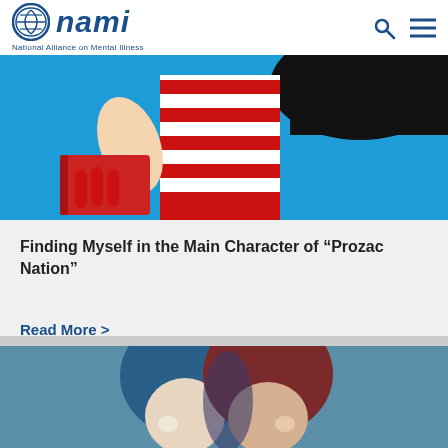NAMI – National Alliance on Mental Illness
[Figure (illustration): Illustration of a person in a red-and-white striped shirt holding a red book against a bright blue background, with a dark shape on the right side.]
Finding Myself in the Main Character of “Prozac Nation”
Read More >
[Figure (illustration): Illustration showing two stylized heads facing each other – one with blue hair on a teal background and one with dark red/maroon hair – overlapping in the center.]